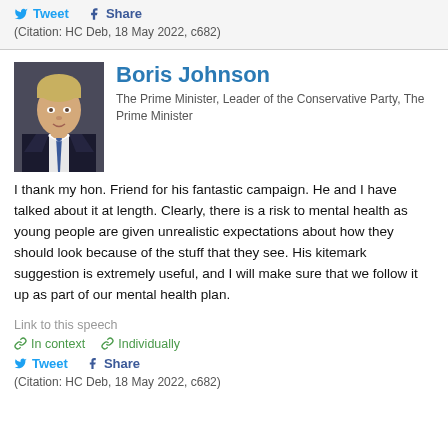In context  Individually
Tweet  Share
(Citation: HC Deb, 18 May 2022, c682)
[Figure (photo): Portrait photo of Boris Johnson in a dark suit with blue tie]
Boris Johnson
The Prime Minister, Leader of the Conservative Party, The Prime Minister
I thank my hon. Friend for his fantastic campaign. He and I have talked about it at length. Clearly, there is a risk to mental health as young people are given unrealistic expectations about how they should look because of the stuff that they see. His kitemark suggestion is extremely useful, and I will make sure that we follow it up as part of our mental health plan.
Link to this speech
In context  Individually
Tweet  Share
(Citation: HC Deb, 18 May 2022, c682)